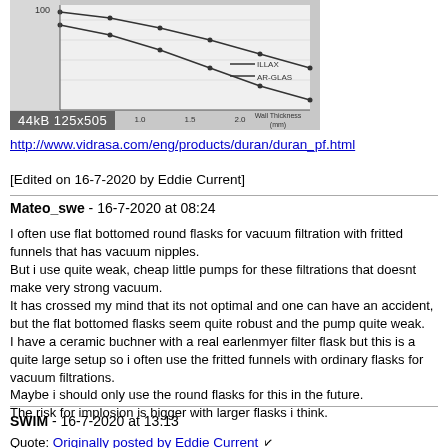[Figure (continuous-plot): Partial cropped graph image showing two curves labeled ILLAX and AR-GLAS plotted against Wall Thickness (mm) on x-axis, with a dark overlay showing '44kB 125x505']
http://www.vidrasa.com/eng/products/duran/duran_pf.html
[Edited on 16-7-2020 by Eddie Current]
Mateo_swe - 16-7-2020 at 08:24
I often use flat bottomed round flasks for vacuum filtration with fritted funnels that has vacuum nipples.
But i use quite weak, cheap little pumps for these filtrations that doesnt make very strong vacuum.
It has crossed my mind that its not optimal and one can have an accident, but the flat bottomed flasks seem quite robust and the pump quite weak.
I have a ceramic buchner with a real earlenmyer filter flask but this is a quite large setup so i often use the fritted funnels with ordinary flasks for vacuum filtrations.
Maybe i should only use the round flasks for this in the future.
The risk for implosion is bigger with larger flasks i think.
SWIM - 16-7-2020 at 13:13
Quote: Originally posted by Eddie Current